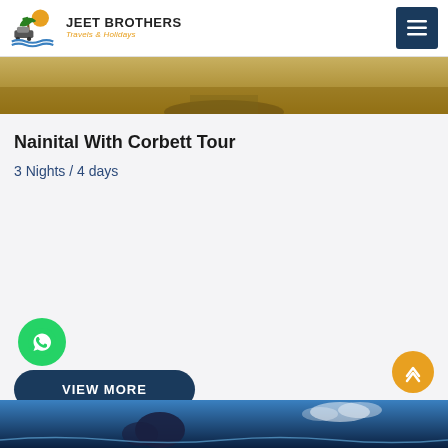JEET BROTHERS Travels & Holidays
[Figure (photo): Savanna / grassland landscape with golden dry grass and a road, partial view (hero banner image strip)]
Nainital With Corbett Tour
3 Nights / 4 days
VIEW MORE
[Figure (photo): Blue ocean/coastal landscape with clouds, bottom banner image strip]